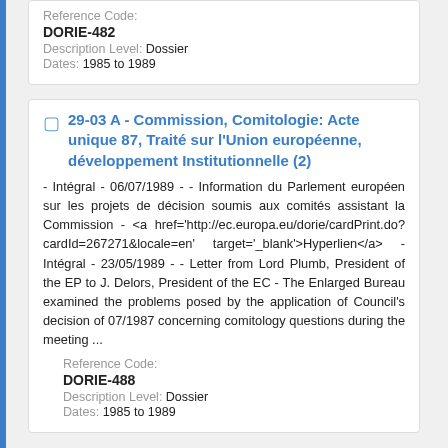Reference Code: DORIE-482
Description Level: Dossier
Dates: 1985 to 1989
29-03 A - Commission, Comitologie: Acte unique 87, Traité sur l'Union européenne, développement Institutionnelle (2)
- Intégral - 06/07/1989 - - Information du Parlement européen sur les projets de décision soumis aux comités assistant la Commission - <a href='http://ec.europa.eu/dorie/cardPrint.do?cardId=267271&locale=en' target='_blank'>Hyperlien</a> - Intégral - 23/05/1989 - - Letter from Lord Plumb, President of the EP to J. Delors, President of the EC - The Enlarged Bureau examined the problems posed by the application of Council's decision of 07/1987 concerning comitology questions during the meeting ...
Reference Code: DORIE-488
Description Level: Dossier
Dates: 1985 to 1989